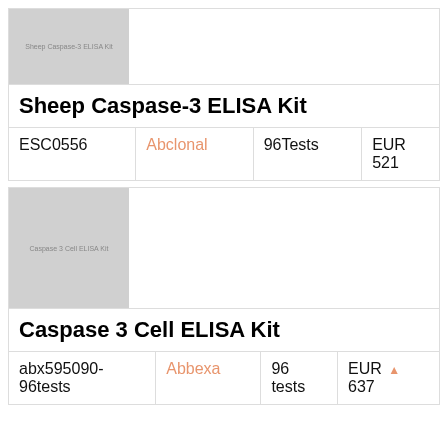[Figure (photo): Placeholder image for Sheep Caspase-3 ELISA Kit with label text]
Sheep Caspase-3 ELISA Kit
| ESC0556 | Abclonal | 96Tests | EUR 521 |
| --- | --- | --- | --- |
| ESC0556 | Abclonal | 96Tests | EUR 521 |
[Figure (photo): Placeholder image for Caspase 3 Cell ELISA Kit with label text]
Caspase 3 Cell ELISA Kit
| abx595090-96tests | Abbexa | 96 tests | EUR 637 |
| --- | --- | --- | --- |
| abx595090-96tests | Abbexa | 96 tests | EUR 637 |